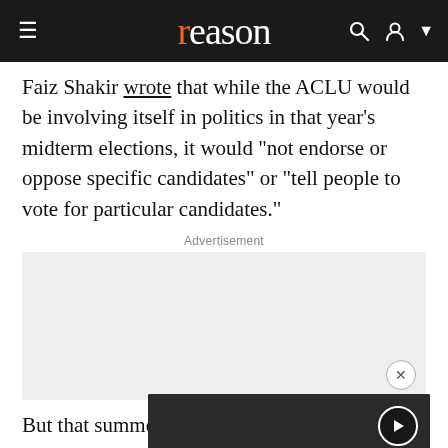reason
Faiz Shakir wrote that while the ACLU would be involving itself in politics in that year's midterm elections, it would "not endorse or oppose specific candidates" or "tell people to vote for particular candidates."
Advertisement
[Figure (other): Advertisement placeholder box with close button]
But that summer, sheriff and district Stacey Abrams simply "let[ting] its electoral work candidates, despite takes its nonpar
[Figure (other): Video player overlay showing error message: The media could not be loaded, either because the server or network failed or because the format is not supported. Background shows protest crowd image.]